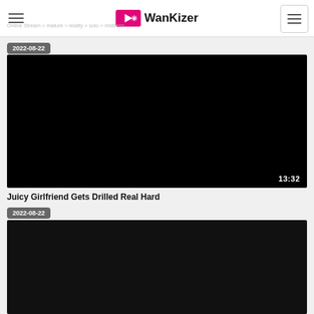WanKizer
2022-08-22
[Figure (screenshot): Black video thumbnail with duration 13:32 in bottom right corner]
Juicy Girlfriend Gets Drilled Real Hard
2022-08-22
[Figure (screenshot): Black video thumbnail, partially visible at bottom of page]